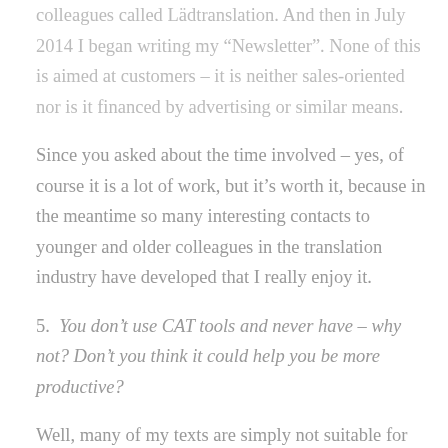colleagues called Lädtranslation. And then in July 2014 I began writing my “Newsletter”. None of this is aimed at customers – it is neither sales-oriented nor is it financed by advertising or similar means.
Since you asked about the time involved – yes, of course it is a lot of work, but it’s worth it, because in the meantime so many interesting contacts to younger and older colleagues in the translation industry have developed that I really enjoy it.
5. You don’t use CAT tools and never have – why not? Don’t you think it could help you be more productive?
Well, many of my texts are simply not suitable for them, and in many cases my translations are